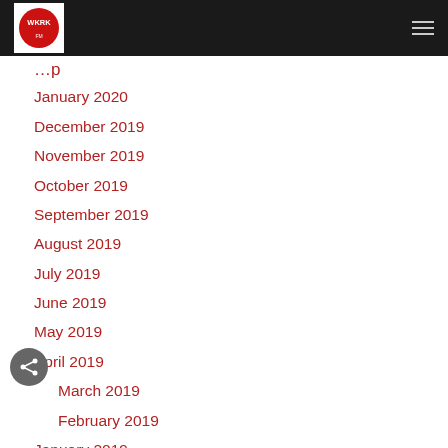WKRK
January 2020
December 2019
November 2019
October 2019
September 2019
August 2019
July 2019
June 2019
May 2019
April 2019
March 2019
February 2019
January 2019